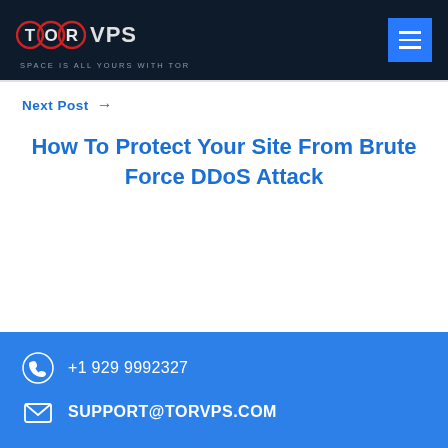TOR VPS — SPACE IS ALL YOURS WITH TOR
Next Post →
How To Protect Your Site From Brute Force DDoS Attack
+1 929 9992327 | SUPPORT@TORVPS.COM